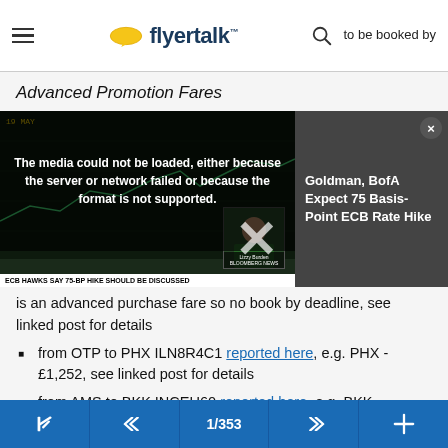to be booked by — flyertalk
Advanced Promotion Fares
[Figure (screenshot): Video player overlay showing a Bloomberg news segment about ECB rate hike with error message: 'The media could not be loaded, either because the server or network failed or because the format is not supported.' Right side shows text: 'Goldman, BofA Expect 75 Basis-Point ECB Rate Hike'. Bottom banner reads: 'ECB HAWKS SAY 75-BP HIKE SHOULD BE DISCUSSED']
is an advanced purchase fare so no book by deadline, see linked post for details
from OTP to PHX ILN8R4C1 reported here, e.g. PHX - £1,252, see linked post for details
from AMS to BKK INCEU60 reported here, e.g. BKK - £1,216, see linked post for details
1/353